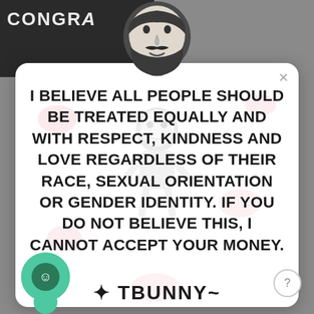[Figure (illustration): Screenshot of a social media or app profile modal with a bearded cartoon avatar head at top, a semi-transparent character watermark in the background, and a statement about accepting customers based on their beliefs. Green circle icons at bottom left and a close X button at top right.]
I BELIEVE ALL PEOPLE SHOULD BE TREATED EQUALLY AND WITH RESPECT, KINDNESS AND LOVE REGARDLESS OF THEIR RACE, SEXUAL ORIENTATION OR GENDER IDENTITY. IF YOU DO NOT BELIEVE THIS, I CANNOT ACCEPT YOUR MONEY.
TBUNNY (signature)